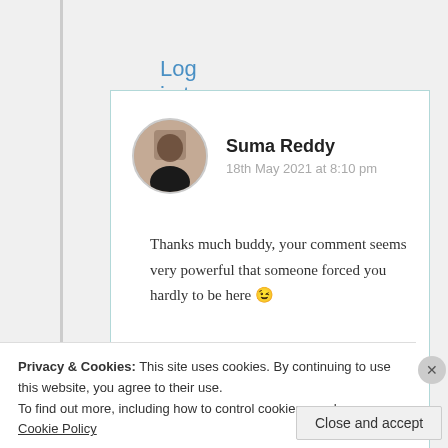Log in to Reply
Suma Reddy
18th May 2021 at 8:10 pm
Thanks much buddy, your comment seems very powerful that someone forced you hardly to be here 😉
Privacy & Cookies: This site uses cookies. By continuing to use this website, you agree to their use.
To find out more, including how to control cookies, see here: Cookie Policy
Close and accept